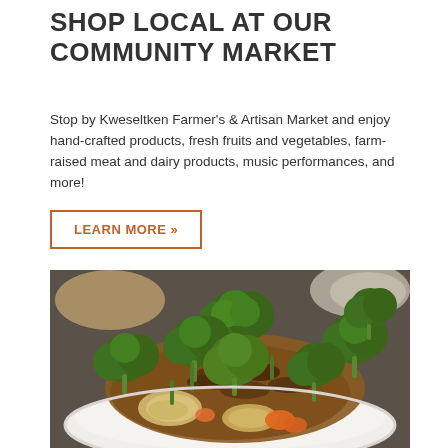SHOP LOCAL AT OUR COMMUNITY MARKET
Stop by Kweseltken Farmer's & Artisan Market and enjoy hand-crafted products, fresh fruits and vegetables, farm-raised meat and dairy products, music performances, and more!
LEARN MORE »
[Figure (photo): A plate of stir-fried broccoli and beef with onions, carrots, and brown sauce, served on a white plate. Background shows blurred dishes.]